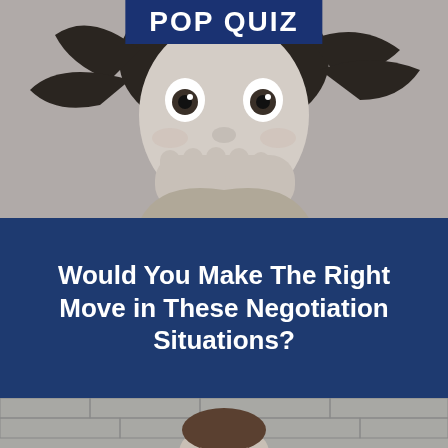[Figure (photo): Black and white photo of a young girl with wide eyes and hands covering her mouth in a surprised expression]
POP QUIZ
Would You Make The Right Move in These Negotiation Situations?
[Figure (photo): Black and white photo of a man smiling, partially visible at the bottom of the image]